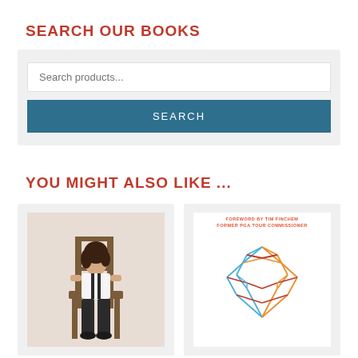SEARCH OUR BOOKS
Search products...
SEARCH
YOU MIGHT ALSO LIKE ...
[Figure (photo): Book cover showing a woman in white shirt and black pants sitting on a wooden chair]
[Figure (illustration): Book cover with geometric heart shape made of colored lines (blue, orange, red) and text 'FOREWORD BY TIM FINCHEM FORMER PGA TOUR COMMISSIONER']